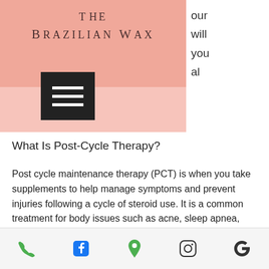THE BRAZILIAN WAX
What Is Post-Cycle Therapy?
Post cycle maintenance therapy (PCT) is when you take supplements to help manage symptoms and prevent injuries following a cycle of steroid use. It is a common treatment for body issues such as acne, sleep apnea, and menstrual disorders. It can also help maintain muscle gain. You take pills that increase the amount of "active" steroids in your body, which leads to increased production of growth hormone. If you are taking medications that suppress
Phone | Facebook | Map | Instagram | Google